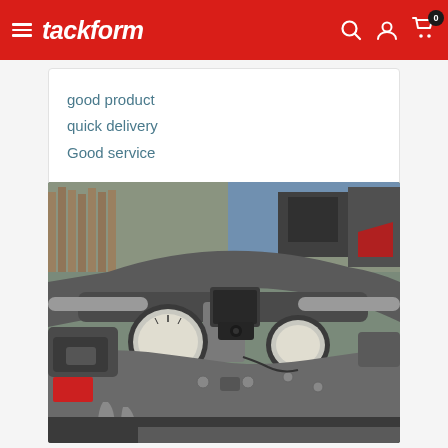tackform
good product
quick delivery
Good service
[Figure (photo): Motorcycle dashboard with a phone/device mount attached to the handlebar stem, showing gauges and controls. Photo taken outdoors.]